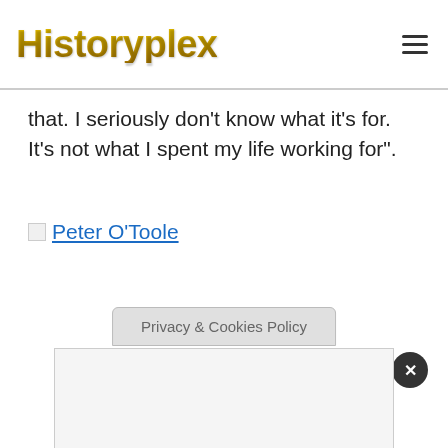Historyplex
that. I seriously don’t know what it’s for. It’s not what I spent my life working for”.
Peter O’Toole
[Figure (screenshot): Cookie/privacy modal overlay at bottom of page with close button]
Privacy & Cookies Policy